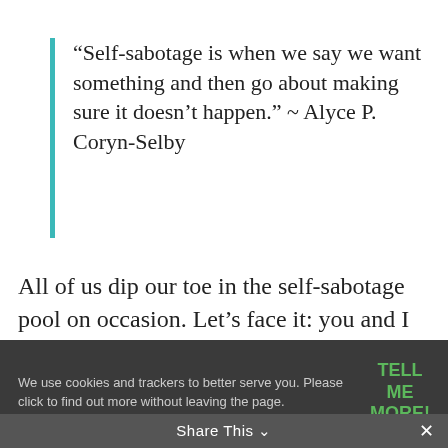“Self-sabotage is when we say we want something and then go about making sure it doesn’t happen.” ~ Alyce P. Coryn-Selby
All of us dip our toe in the self-sabotage pool on occasion. Let’s face it: you and I don’t always make the best and wisest choices; we are not always consistent;
We use cookies and trackers to better serve you. Please click to find out more without leaving the page.
TELL ME MORE!
That said, I don’t believe we ever wake up saying, “I’m going to sabotage myself
Share This